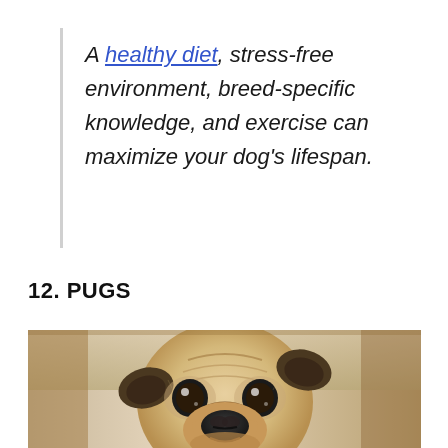A healthy diet, stress-free environment, breed-specific knowledge, and exercise can maximize your dog's lifespan.
12. PUGS
[Figure (photo): Close-up photo of a pug dog looking up at the camera, sitting inside a cardboard box]